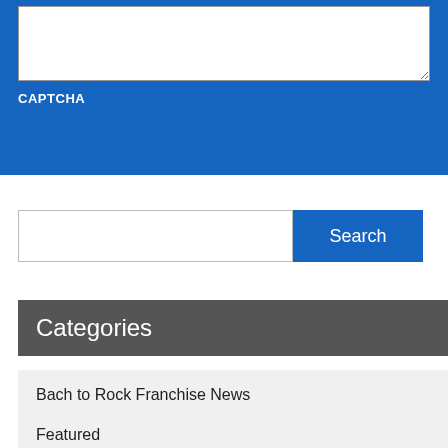[Figure (screenshot): Blue form section with a white textarea input and CAPTCHA label]
CAPTCHA
[Figure (screenshot): Search input field with a blue Search button]
Categories
Bach to Rock Franchise News
Featured